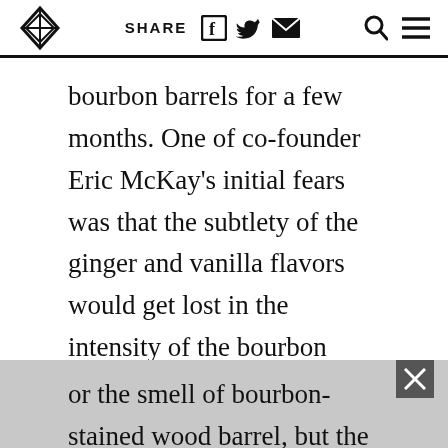SHARE [facebook] [twitter] [email] [search] [menu]
bourbon barrels for a few months. One of co-founder Eric McKay's initial fears was that the subtlety of the ginger and vanilla flavors would get lost in the intensity of the bourbon barrels. But small, and powerful, notes of chili pepper, vanilla, cinnamon, and coconut persist amid the atmosphere of gingerbread, coffee, and bitter chocolate. It's definitely a big beer and it doesn't shy away from the alcohol, or the smell of bourbon-stained wood barrel, but the power of the booze is less